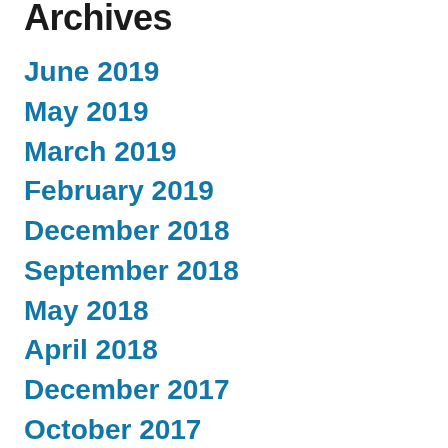Archives
June 2019
May 2019
March 2019
February 2019
December 2018
September 2018
May 2018
April 2018
December 2017
October 2017